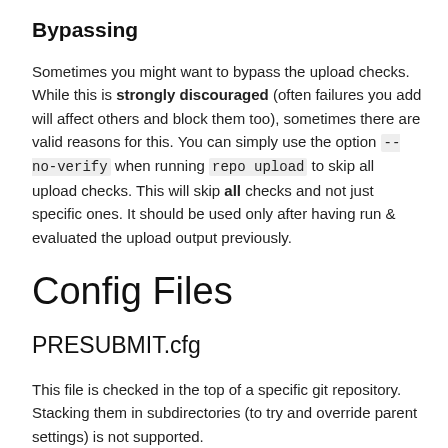Bypassing
Sometimes you might want to bypass the upload checks. While this is strongly discouraged (often failures you add will affect others and block them too), sometimes there are valid reasons for this. You can simply use the option --no-verify when running repo upload to skip all upload checks. This will skip all checks and not just specific ones. It should be used only after having run & evaluated the upload output previously.
Config Files
PRESUBMIT.cfg
This file is checked in the top of a specific git repository. Stacking them in subdirectories (to try and override parent settings) is not supported.